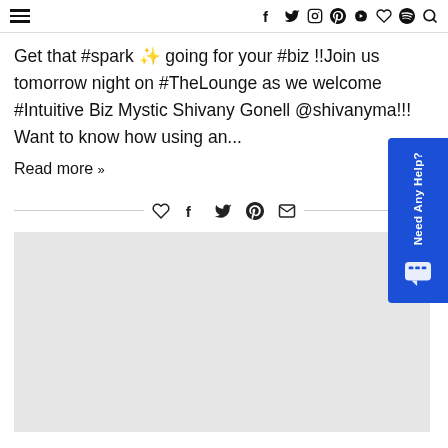Navigation bar with hamburger menu and social/search icons: f y (instagram) (pinterest) (youtube) (heart) (spotify) (search)
Get that #spark ✨ going for your #biz !! Join us tomorrow night on #TheLounge as we welcome #Intuitive Biz Mystic Shivany Gonell @shivanyma!!! Want to know how using an...
Read more »
[Figure (other): Social sharing icons row: heart (like), facebook, twitter, pinterest, mail, flanked by horizontal lines]
[Figure (photo): Gray placeholder/loading image block]
[Figure (other): Blue side button reading 'Need Any Help?' vertically with chat bubble icon]